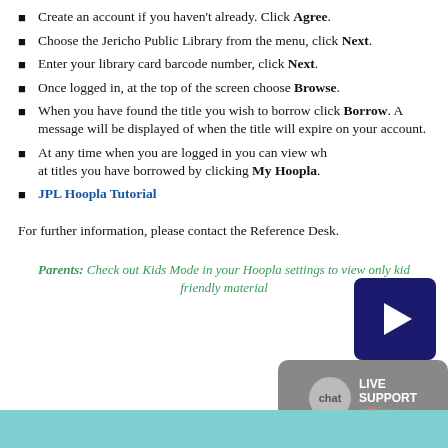Create an account if you haven't already.  Click Agree.
Choose the Jericho Public Library from the menu, click Next.
Enter your library card barcode number, click Next.
Once logged in, at the top of the screen choose Browse.
When you have found the title you wish to borrow click Borrow.  A message will be displayed of when the title will expire on your account.
At any time when you are logged in you can view what titles you have borrowed by clicking My Hoopla.
JPL Hoopla Tutorial
[Figure (screenshot): Dark navy blue play button thumbnail icon]
For further information, please contact the Reference Desk.
Parents: Check out Kids Mode in your Hoopla settings to view only kid friendly material
[Figure (screenshot): Live support chat badge showing offline status]